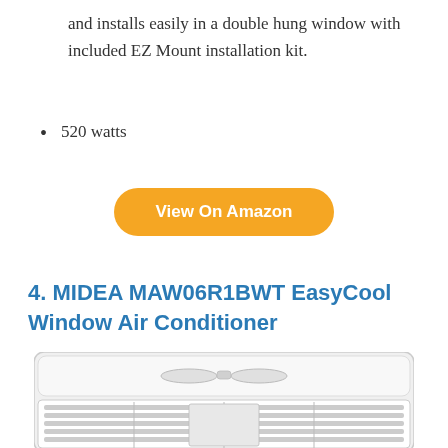and installs easily in a double hung window with included EZ Mount installation kit.
520 watts
[Figure (other): Orange rounded button labeled 'View On Amazon']
4. MIDEA MAW06R1BWT EasyCool Window Air Conditioner
[Figure (photo): Photo of a white MIDEA window air conditioner unit, showing the top panel and front grille with horizontal louvers.]